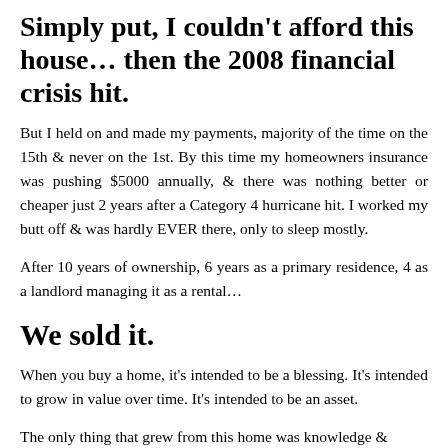Simply put, I couldn't afford this house… then the 2008 financial crisis hit.
But I held on and made my payments, majority of the time on the 15th & never on the 1st. By this time my homeowners insurance was pushing $5000 annually, & there was nothing better or cheaper just 2 years after a Category 4 hurricane hit. I worked my butt off & was hardly EVER there, only to sleep mostly.
After 10 years of ownership, 6 years as a primary residence, 4 as a landlord managing it as a rental…
We sold it.
When you buy a home, it's intended to be a blessing. It's intended to grow in value over time. It's intended to be an asset.
The only thing that grew from this home was knowledge &